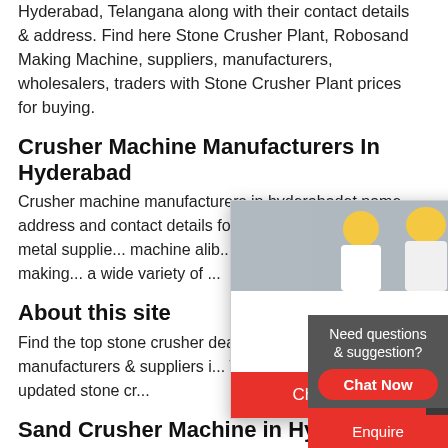Hyderabad, Telangana along with their contact details & address. Find here Stone Crusher Plant, Robosand Making Machine, suppliers, manufacturers, wholesalers, traders with Stone Crusher Plant prices for buying.
Crusher Machine Manufacturers In Hyderabad
Crusher machine manufacturers in hyderabadet name, address and contact details for stone crushers and stone metal supplie... machine alib... machine pro... sand making... a wide variety of ...
[Figure (screenshot): Live Chat popup with workers in yellow hard hats. Shows LIVE CHAT title in red italic, 'Click for a Free Consultation' subtitle, and Chat now / Chat later buttons.]
About this site
Find the top stone crusher dealers, trade wholesalers, manufacturers & suppliers i... Telangana. Get latest & updated stone cr...
Sand Crusher Machine in Hydera...
[Figure (infographic): Right sidebar: Red bar with '24 Hrs Online' text, customer service representative photo, 'Need questions & suggestion?' gray box with Chat Now red oval button, and Enquire red bar at bottom.]